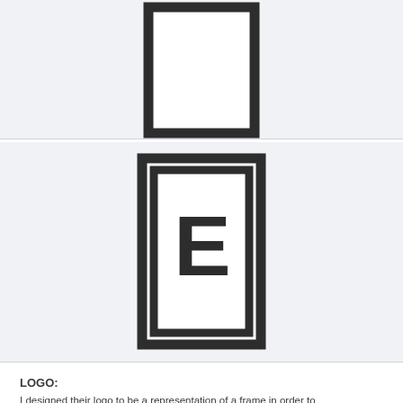[Figure (illustration): An empty square frame (thick dark border, white interior) centered on a light gray panel — top portion of the page.]
[Figure (logo): A square logo with a thick dark outer border and a thick dark inner border, with a large capital letter E centered inside, on a light gray panel.]
LOGO:
I designed their logo to be a representation of a frame in order to